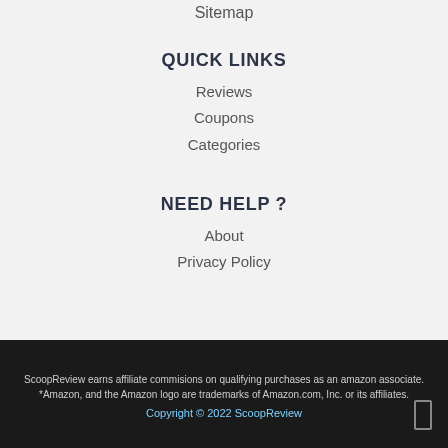Sitemap
QUICK LINKS
Reviews
Coupons
Categories
NEED HELP ?
About
Privacy Policy
ScoopReview earns affiliate commisions on qualifying purchases as an amazon associate. *Amazon, and the Amazon logo are trademarks of Amazon.com, Inc. or its affiliates. Copyright © 2022 ScoopReview